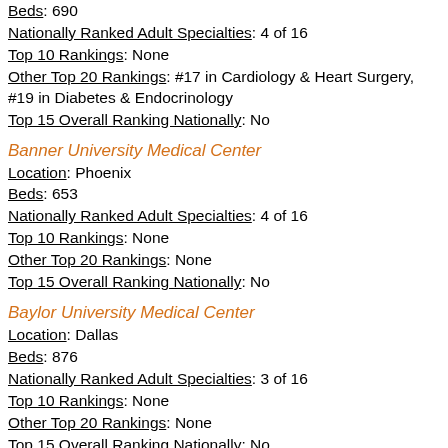Beds: 690
Nationally Ranked Adult Specialties:  4 of 16
Top 10 Rankings: None
Other Top 20 Rankings:  #17 in Cardiology & Heart Surgery, #19 in Diabetes & Endocrinology
Top 15 Overall Ranking Nationally: No
Banner University Medical Center
Location:  Phoenix
Beds: 653
Nationally Ranked Adult Specialties:  4 of 16
Top 10 Rankings: None
Other Top 20 Rankings:  None
Top 15 Overall Ranking Nationally: No
Baylor University Medical Center
Location:  Dallas
Beds: 876
Nationally Ranked Adult Specialties:  3 of 16
Top 10 Rankings: None
Other Top 20 Rankings:  None
Top 15 Overall Ranking Nationally: No